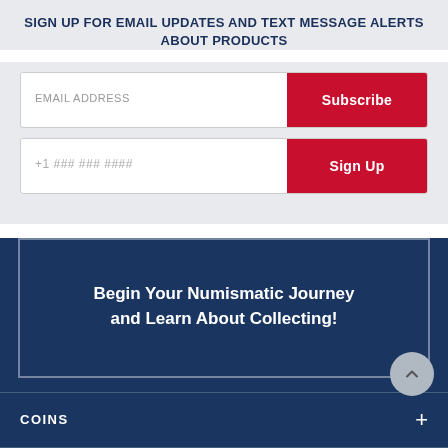SIGN UP FOR EMAIL UPDATES AND TEXT MESSAGE ALERTS ABOUT PRODUCTS
EMAIL ADDRESS
Subscribe
+1 ### ### ####
Sign Up
Begin Your Numismatic Journey and Learn About Collecting!
COINS
MEDALS